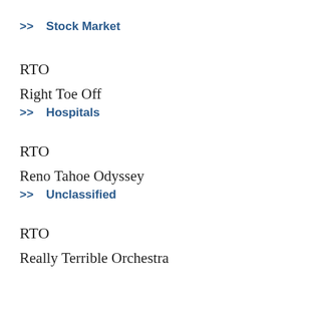>> Stock Market
RTO
Right Toe Off
>> Hospitals
RTO
Reno Tahoe Odyssey
>> Unclassified
RTO
Really Terrible Orchestra